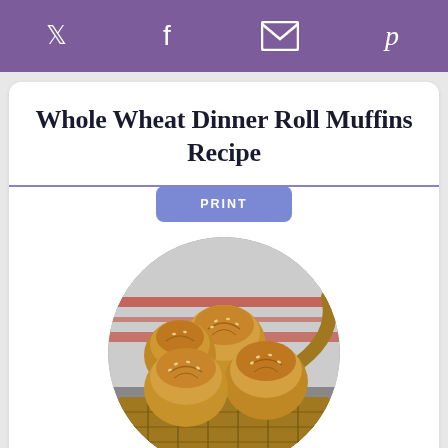Social share bar with Twitter, Facebook, Email, Pinterest icons
Whole Wheat Dinner Roll Muffins Recipe
PRINT
[Figure (photo): Circular cropped photo of whole wheat dinner roll muffins in a woven basket with a red and white striped cloth.]